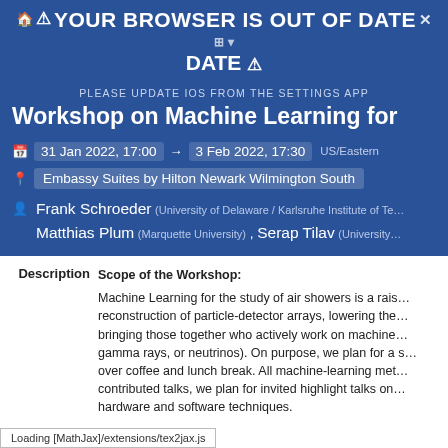⚠ YOUR BROWSER IS OUT OF DATE ⚠
PLEASE UPDATE IOS FROM THE SETTINGS APP
Workshop on Machine Learning for…
31 Jan 2022, 17:00 → 3 Feb 2022, 17:30 US/Eastern
Embassy Suites by Hilton Newark Wilmington South
Frank Schroeder (University of Delaware / Karlsruhe Institute of Te… Matthias Plum (Marquette University) , Serap Tilav (University…
Scope of the Workshop:
Machine Learning for the study of air showers is a rais… reconstruction of particle-detector arrays, lowering the… bringing those together who actively work on machine… gamma rays, or neutrinos). On purpose, we plan for a s… over coffee and lunch break. All machine-learning met… contributed talks, we plan for invited highlight talks on… hardware and software techniques.
Loading [MathJax]/extensions/tex2jax.js